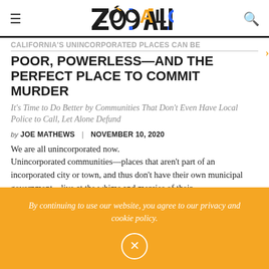ZÓCALO
CALIFORNIA'S UNINCORPORATED PLACES CAN BE POOR, POWERLESS—AND THE PERFECT PLACE TO COMMIT MURDER
It's Time to Do Better by Communities That Don't Even Have Local Police to Call, Let Alone Defund
by JOE MATHEWS | NOVEMBER 10, 2020
We are all unincorporated now. Unincorporated communities—places that aren't part of an incorporated city or town, and thus don't have their own municipal government—live at the whims and mercies of their ...
By continuing to use our website, you agree to our privacy and cookie policy.